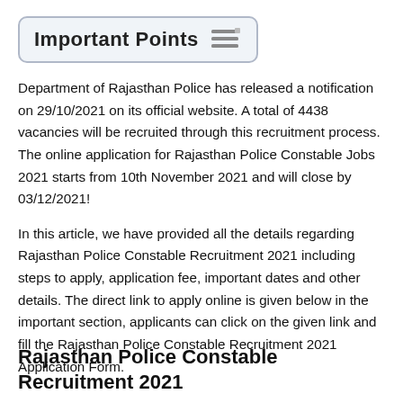Important Points
Department of Rajasthan Police has released a notification on 29/10/2021 on its official website. A total of 4438 vacancies will be recruited through this recruitment process. The online application for Rajasthan Police Constable Jobs 2021 starts from 10th November 2021 and will close by 03/12/2021!
In this article, we have provided all the details regarding Rajasthan Police Constable Recruitment 2021 including steps to apply, application fee, important dates and other details. The direct link to apply online is given below in the important section, applicants can click on the given link and fill the Rajasthan Police Constable Recruitment 2021 Application Form.
Rajasthan Police Constable Recruitment 2021